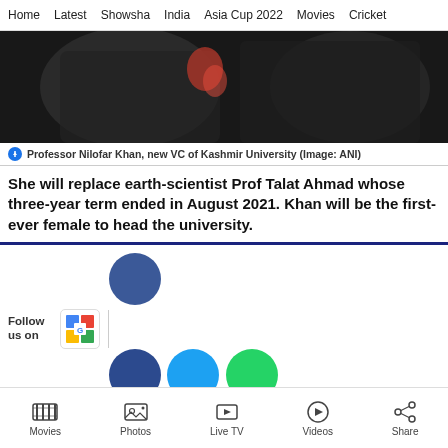Home | Latest | Showsha | India | Asia Cup 2022 | Movies | Cricket
[Figure (photo): Photo of Professor Nilofar Khan, new VC of Kashmir University, wearing black attire with red scarf/dupatta]
Professor Nilofar Khan, new VC of Kashmir University (Image: ANI)
She will replace earth-scientist Prof Talat Ahmad whose three-year term ended in August 2021. Khan will be the first-ever female to head the university.
[Figure (infographic): Follow us on social media bar with Google News icon, Facebook (blue circle), dark blue circle, Twitter/sky blue circle, WhatsApp (green circle)]
Advertisement
Movies | Photos | Live TV | Videos | Share